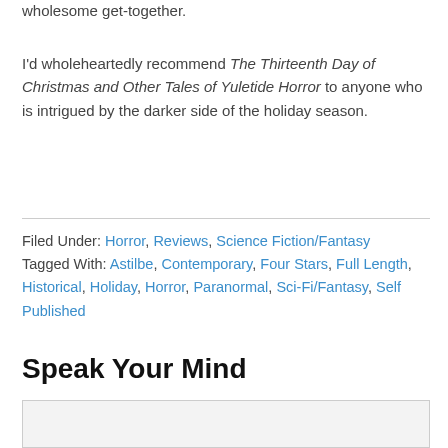wholesome get-together.
I'd wholeheartedly recommend The Thirteenth Day of Christmas and Other Tales of Yuletide Horror to anyone who is intrigued by the darker side of the holiday season.
Filed Under: Horror, Reviews, Science Fiction/Fantasy   Tagged With: Astilbe, Contemporary, Four Stars, Full Length, Historical, Holiday, Horror, Paranormal, Sci-Fi/Fantasy, Self Published
Speak Your Mind
[Figure (other): Empty comment text area box with light gray background]